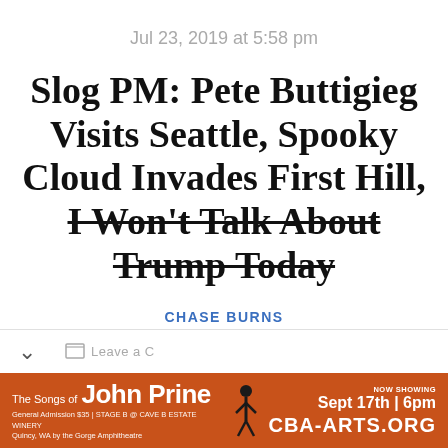Jul 23, 2019 at 5:58 pm
Slog PM: Pete Buttigieg Visits Seattle, Spooky Cloud Invades First Hill, I Won't Talk About Trump Today
CHASE BURNS
[Figure (screenshot): Bottom UI bar with chevron and share icon, partially visible]
[Figure (infographic): Advertisement banner for 'The Songs of John Prine' event, Sept 17th 6pm, CBA-ARTS.ORG, General Admission $35, Stage B @ Cave B Estate Winery, Quincy WA by the Gorge Amphitheatre]